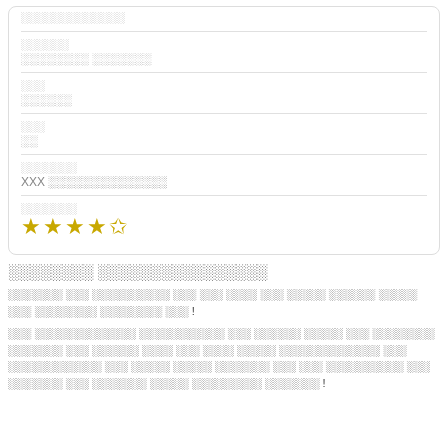| ░░░░░░ | ░░░░░░░░ ░░░░░░░ |
| ░░░ | ░░░░░░ |
| ░░░ | ░░ |
| ░░░░░░░ | XXX ░░░░░░░░░░░░░░ |
| ░░░░░░░ | ★★★★½ |
░░░░░░░░ ░░░░░░░░░░░░░░░░
░░░░░░░ ░░░ ░░░░░░░░░░ ░░░ ░░░ ░░░░ ░░░ ░░░░░ ░░░░░░ ░░░░░ ░░░ ░░░░░░░░ ░░░░░░░░ ░░░ !
░░░ ░░░░░░░░░░░░░ ░░░░░░░░░░░ ░░░ ░░░░░░ ░░░░░ ░░░ ░░░░░░░░ ░░░░░░░ ░░░ ░░░░░░ ░░░░ ░░░ ░░░░ ░░░░░ ░░░░░░░░░░░░░ ░░░ ░░░░░░░░░░░░ ░░░ ░░░░░ ░░░░░ ░░░░░░░ ░░░ ░░░ ░░░░░░░░░░ ░░░ ░░░░░░░ ░░░ ░░░░░░░ ░░░░░ ░░░░░░░░░ ░░░░░░░ !